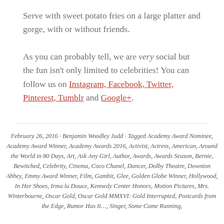Serve with sweet potato fries on a large platter and gorge, with or without friends.
As you can probably tell, we are very social but the fun isn't only limited to celebrities! You can follow us on Instagram, Facebook, Twitter, Pinterest, Tumblr and Google+.
February 26, 2016 · Benjamin Woodley Judd · Tagged Academy Award Nominee, Academy Award Winner, Academy Awards 2016, Activist, Actress, American, Around the World in 80 Days, Art, Ask Any Girl, Author, Awards, Awards Season, Bernie, Bewitched, Celebrity, Cinema, Coco Chanel, Dancer, Dolby Theatre, Downton Abbey, Emmy Award Winner, Film, Gambit, Glee, Golden Globe Winner, Hollywood, In Her Shoes, Irma la Douce, Kennedy Center Honors, Motion Pictures, Mrs. Winterbourne, Oscar Gold, Oscar Gold MMXVI: Gold Interrupted, Postcards from the Edge, Rumor Has It…, Singer, Some Came Running,